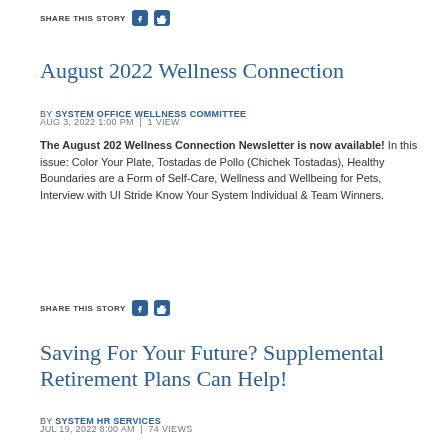SHARE THIS STORY
August 2022 Wellness Connection
BY SYSTEM OFFICE WELLNESS COMMITTEE
AUG 3, 2022 1:00 PM  |  1 VIEW
The August 202 Wellness Connection Newsletter is now available! In this issue: Color Your Plate, Tostadas de Pollo (Chichek Tostadas), Healthy Boundaries are a Form of Self-Care, Wellness and Wellbeing for Pets, Interview with UI Stride Know Your System Individual & Team Winners.
SHARE THIS STORY
Saving For Your Future? Supplemental Retirement Plans Can Help!
BY SYSTEM HR SERVICES
JUL 19, 2022 8:00 AM  |  74 VIEWS